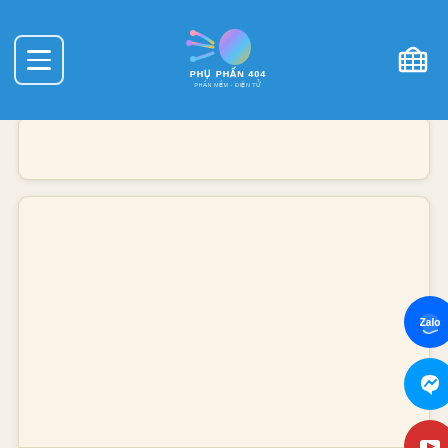[Figure (screenshot): Website header navigation bar with hamburger menu icon on the left, a colorful tech logo (Phụ Phấn 404) in the center, and a shopping cart icon on the right, all on a blue background]
[Figure (screenshot): Beige/cream content card strip below the header]
[Figure (screenshot): Large beige/cream main content card area]
[Figure (screenshot): Zalo social media button - blue circle with Zalo logo]
[Figure (screenshot): Facebook Messenger social media button - blue circle with Messenger lightning bolt logo]
[Figure (screenshot): YouTube social media button - red circle with YouTube play button logo]